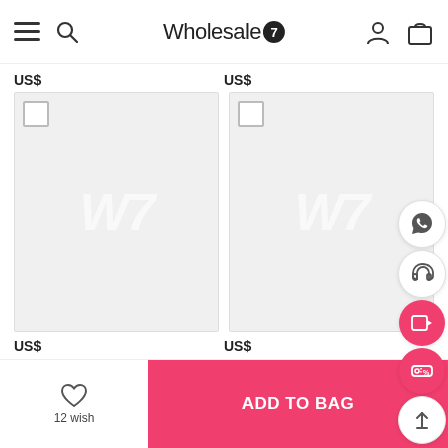Wholesale7
US$
US$
[Figure (screenshot): Product card placeholder with W7 watermark logo on grey background]
[Figure (screenshot): Product card placeholder with W7 watermark logo on grey background]
US$
US$
12 wish
ADD TO BAG